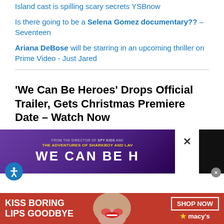Island cast is spilling scary secrets YSBnow
Is there going to be a Selena Gomez documentary?? – Seventeen
Ariana DeBose will be starring in an upcoming thriller on Prime Video - Just Jared
'We Can Be Heroes' Drops Official Trailer, Gets Christmas Premiere Date – Watch Now
[Figure (screenshot): Movie banner for 'We Can Be Heroes' from the director of Spy Kids and The Adventures of Sharkboy and Lav... with a purple/dark background showing movie title text. A close button (X) is visible. An accessibility icon (yellow figure) is shown at bottom left.]
[Figure (advertisement): Macy's advertisement banner with red background reading 'KISS BORING LIPS GOODBYE', woman's face with red lips in center, 'SHOP NOW' button and Macy's star logo on right.]